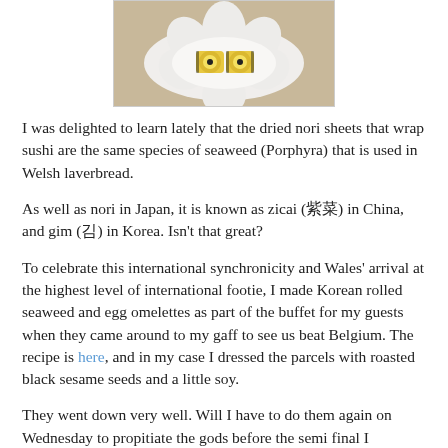[Figure (photo): Photo of Korean rolled seaweed and egg omelettes on a white flower-shaped plate, topped with yellow egg roll slices]
I was delighted to learn lately that the dried nori sheets that wrap sushi are the same species of seaweed (Porphyra) that is used in Welsh laverbread.
As well as nori in Japan, it is known as zicai (紫菜) in China, and gim (김) in Korea. Isn't that great?
To celebrate this international synchronicity and Wales' arrival at the highest level of international footie, I made Korean rolled seaweed and egg omelettes as part of the buffet for my guests when they came around to my gaff to see us beat Belgium. The recipe is here, and in my case I dressed the parcels with roasted black sesame seeds and a little soy.
They went down very well. Will I have to do them again on Wednesday to propitiate the gods before the semi final I wonder?